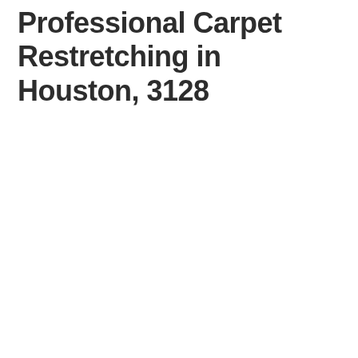Professional Carpet Restretching in Houston, 3128